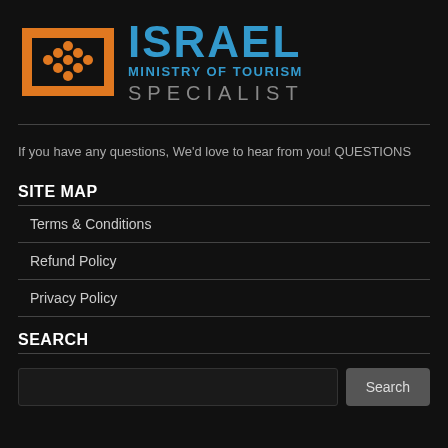[Figure (logo): Israel Ministry of Tourism Specialist logo — orange menorah/arch icon on left, blue ISRAEL text, blue MINISTRY OF TOURISM subtitle, grey SPECIALIST text]
If you have any questions, We'd love to hear from you! QUESTIONS
SITE MAP
Terms & Conditions
Refund Policy
Privacy Policy
SEARCH